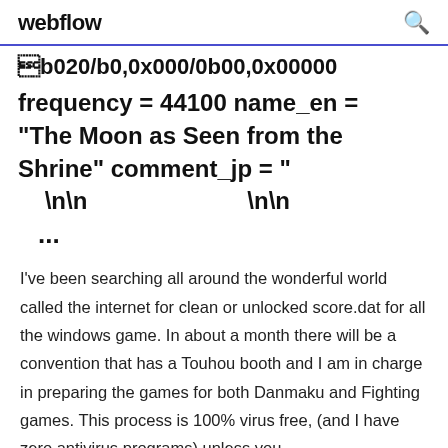webflow
0x1b020/b0,0x000/0b00,0x00000
frequency = 44100 name_en = "The Moon as Seen from the Shrine" comment_jp = "
\n\n    \n\n
...
I've been searching all around the wonderful world called the internet for clean or unlocked score.dat for all the windows game. In about a month there will be a convention that has a Touhou booth and I am in charge in preparing the games for both Danmaku and Fighting games. This process is 100% virus free, (and I have zero antivirus programs) unless you